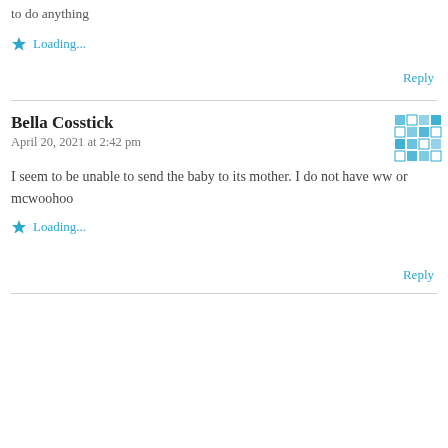to do anything
Loading...
Reply
Bella Cosstick
April 20, 2021 at 2:42 pm
[Figure (illustration): Blue pixel/snowflake avatar icon for Bella Cosstick]
I seem to be unable to send the baby to its mother. I do not have ww or mcwoohoo
Loading...
Reply